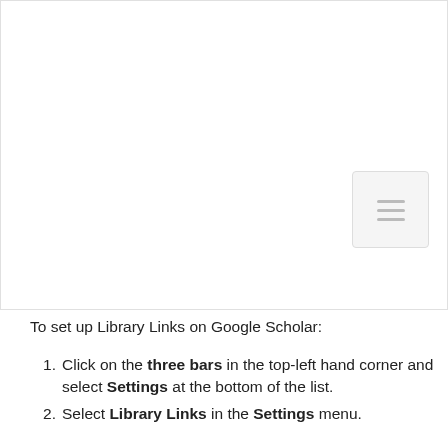[Figure (screenshot): Screenshot of Google Scholar interface showing settings area with a hamburger menu icon box on the right side]
To set up Library Links on Google Scholar:
Click on the three bars in the top-left hand corner and select Settings at the bottom of the list.
Select Library Links in the Settings menu.